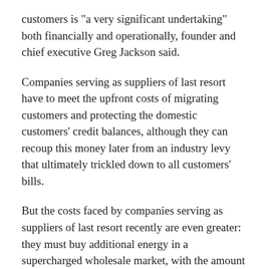customers is "a very significant undertaking" both financially and operationally, founder and chief executive Greg Jackson said.
Companies serving as suppliers of last resort have to meet the upfront costs of migrating customers and protecting the domestic customers' credit balances, although they can recoup this money later from an industry levy that ultimately trickled down to all customers' bills.
But the costs faced by companies serving as suppliers of last resort recently are even greater: they must buy additional energy in a supercharged wholesale market, with the amount they can charge customers limited by the price cap. With wholesale costs currently estimated at between £400 and £550 more than the price cap, taking on hundreds of thousands of customers means absorbing